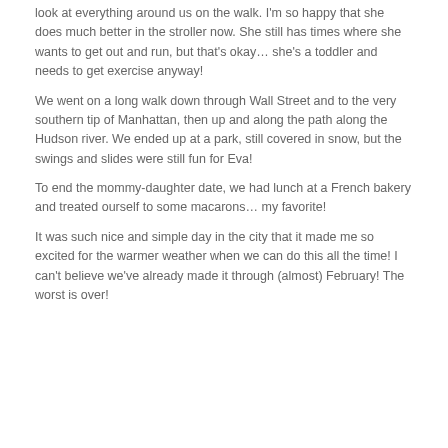look at everything around us on the walk. I'm so happy that she does much better in the stroller now. She still has times where she wants to get out and run, but that's okay… she's a toddler and needs to get exercise anyway!
We went on a long walk down through Wall Street and to the very southern tip of Manhattan, then up and along the path along the Hudson river. We ended up at a park, still covered in snow, but the swings and slides were still fun for Eva!
To end the mommy-daughter date, we had lunch at a French bakery and treated ourself to some macarons… my favorite!
It was such nice and simple day in the city that it made me so excited for the warmer weather when we can do this all the time! I can't believe we've already made it through (almost) February! The worst is over!